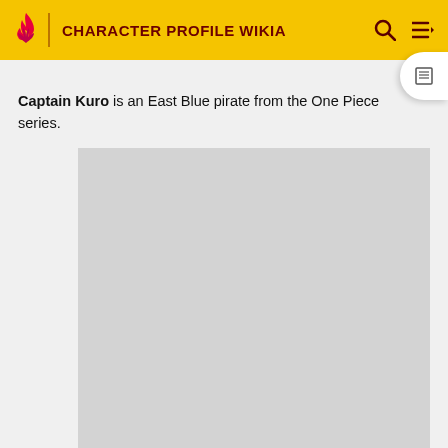CHARACTER PROFILE WIKIA
Captain Kuro is an East Blue pirate from the One Piece series.
[Figure (photo): Large grey placeholder image for Captain Kuro character profile]